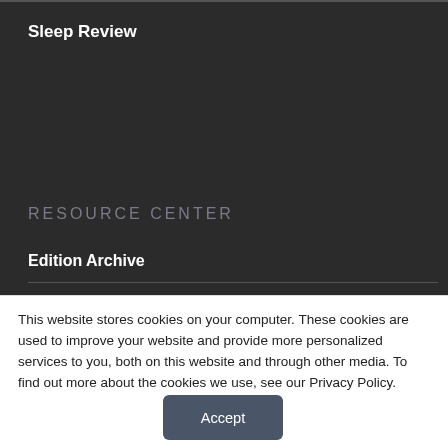Sleep Review
RESOURCE CENTER
Edition Archive
This website stores cookies on your computer. These cookies are used to improve your website and provide more personalized services to you, both on this website and through other media. To find out more about the cookies we use, see our Privacy Policy.
Accept